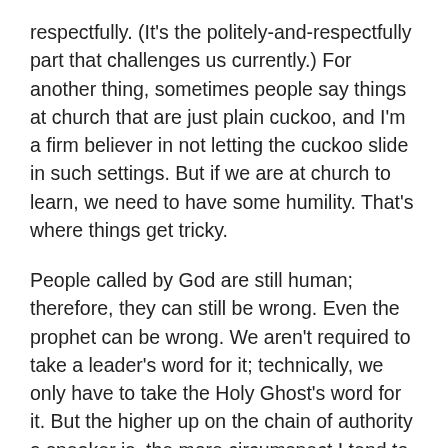respectfully. (It's the politely-and-respectfully part that challenges us currently.) For another thing, sometimes people say things at church that are just plain cuckoo, and I'm a firm believer in not letting the cuckoo slide in such settings. But if we are at church to learn, we need to have some humility. That's where things get tricky.
People called by God are still human; therefore, they can still be wrong. Even the prophet can be wrong. We aren't required to take a leader's word for it; technically, we only have to take the Holy Ghost's word for it. But the higher up on the chain of authority a speaker is, the more circumspect I tend to be about dismissing a statement as wrong. But it can still be wrong. And in that case, I believe it's important to say so–with humility, bearing in mind that I'm also human–because when you're in the business of